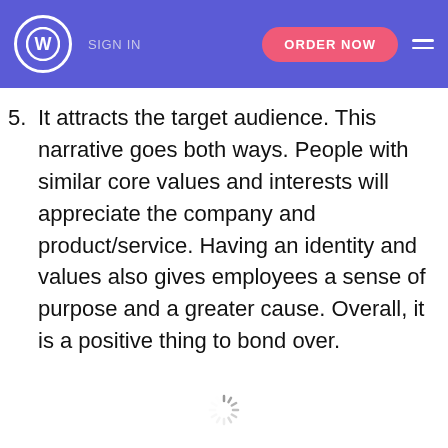SIGN IN | ORDER NOW
5. It attracts the target audience. This narrative goes both ways. People with similar core values and interests will appreciate the company and product/service. Having an identity and values also gives employees a sense of purpose and a greater cause. Overall, it is a positive thing to bond over.
[Figure (other): Loading spinner icon at bottom center of page]